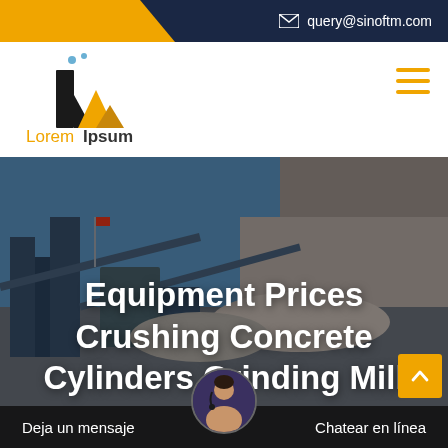query@sinoftm.com
[Figure (logo): LoremIpsum company logo with angular black and yellow building/graph icon and two small dots above]
Equipment Prices Crushing Concrete Cylinders Grinding Mill
Deja un mensaje   Chatear en línea